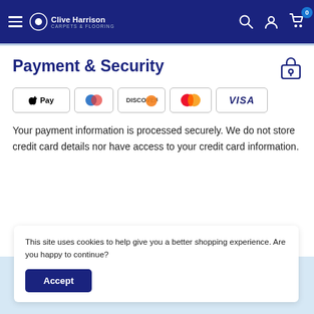Clive Harrison Carpets & Flooring — navigation bar with hamburger menu, logo, search, account, and cart icons
Payment & Security
[Figure (logo): Payment method icons: Apple Pay, Diners Club, Discover, Mastercard, Visa]
Your payment information is processed securely. We do not store credit card details nor have access to your credit card information.
This site uses cookies to help give you a better shopping experience. Are you happy to continue?